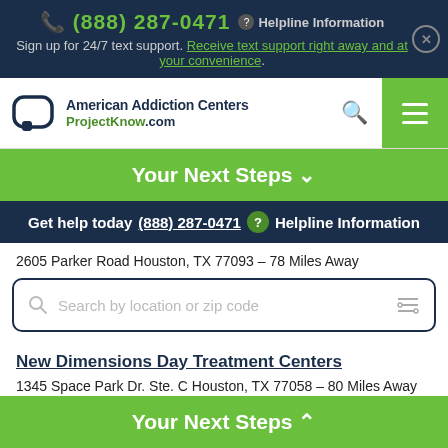(888) 287-0471  Helpline Information
Sign up for 24/7 text support. Receive text support right away and at your convenience.
[Figure (logo): American Addiction Centers / ProjectKnow.com logo with chat bubble icon, search icon, and hamburger menu]
Your Next Steps ∨
Get help today (888) 287-0471  Helpline Information
2605 Parker Road Houston, TX 77093 - 78 Miles Away
Search by location or zip code
New Dimensions Day Treatment Centers
1345 Space Park Dr. Ste. C Houston, TX 77058 - 80 Miles Away
Your Next Steps ∧